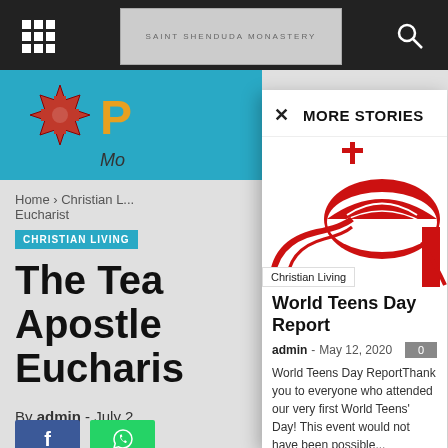[Figure (screenshot): Background website with dark top bar, monastery image, Coptic cross logo, teal header band, article title 'The Tea... Apostle... Eucharis...' partially visible]
MORE STORIES
[Figure (illustration): Red church/chapel icon with dome and cross on top, red geometric shapes forming the entrance]
Christian Living
World Teens Day Report
admin - May 12, 2020
World Teens Day ReportThank you to everyone who attended our very first World Teens' Day! This event would not have been possible...